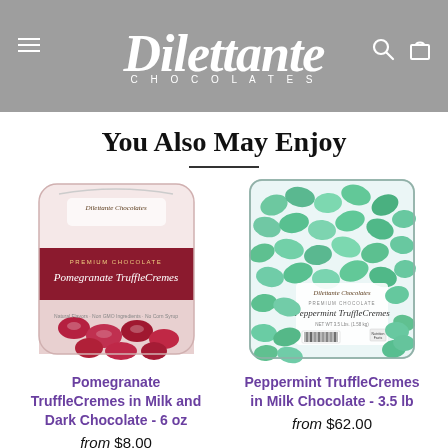[Figure (logo): Dilettante Chocolates logo with stylized script text and 'CHOCOLATES' subtitle, on a gray navigation bar with hamburger menu and search/cart icons]
You Also May Enjoy
[Figure (photo): Pomegranate TruffleCremes in Milk and Dark Chocolate 6 oz bag - dark red/maroon bag with Dilettante Chocolates branding and chocolates visible at bottom]
Pomegranate TruffleCremes in Milk and Dark Chocolate - 6 oz
from $8.00
[Figure (photo): Peppermint TruffleCremes in Milk Chocolate 3.5 lb - large clear bag filled with green foil-wrapped candies, with Dilettante Chocolates label and nutrition facts on the back]
Peppermint TruffleCremes in Milk Chocolate - 3.5 lb
from $62.00